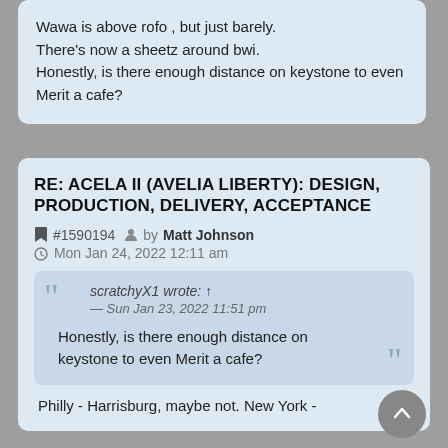Wawa is above rofo , but just barely.
There's now a sheetz around bwi.
Honestly, is there enough distance on keystone to even Merit a cafe?
RE: ACELA II (AVELIA LIBERTY): DESIGN, PRODUCTION, DELIVERY, ACCEPTANCE
#1590194 by Matt Johnson
Mon Jan 24, 2022 12:11 am
scratchyX1 wrote: ↑
— Sun Jan 23, 2022 11:51 pm

Honestly, is there enough distance on keystone to even Merit a cafe?
Philly - Harrisburg, maybe not. New York -